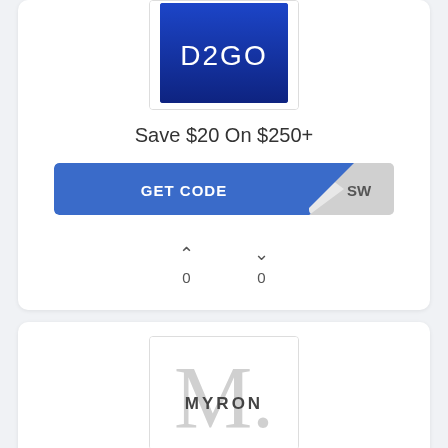[Figure (logo): D2GO logo — blue rectangle with white D2GO text]
Save $20 On $250+
[Figure (other): GET CODE button with partial code reveal showing 'SW']
0
0
[Figure (logo): Myron logo — large grey M with MYRON text]
$20 Discount Sitewide